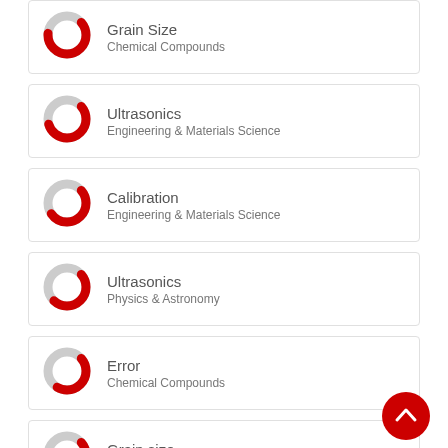Grain Size – Chemical Compounds
Ultrasonics – Engineering & Materials Science
Calibration – Engineering & Materials Science
Ultrasonics – Physics & Astronomy
Error – Chemical Compounds
Grain size – Physics & Astronomy
View full fingerprint >